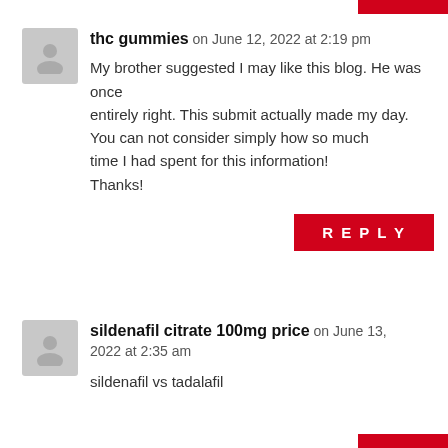thc gummies on June 12, 2022 at 2:19 pm
My brother suggested I may like this blog. He was once entirely right. This submit actually made my day.
You can not consider simply how so much time I had spent for this information! Thanks!
REPLY
sildenafil citrate 100mg price on June 13, 2022 at 2:35 am
sildenafil vs tadalafil